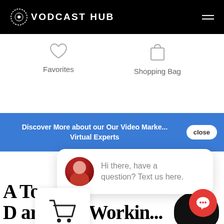VODCAST HUB
[Figure (infographic): Favorites icon (heart) and Shopping Bag icon with labels]
Favorites
Shopping Bag
Discover More about our Our Video Market Virtual Experts
close
Hi there, have a question? Text us here.
A To... Department Working... you for a Fractional Cost.